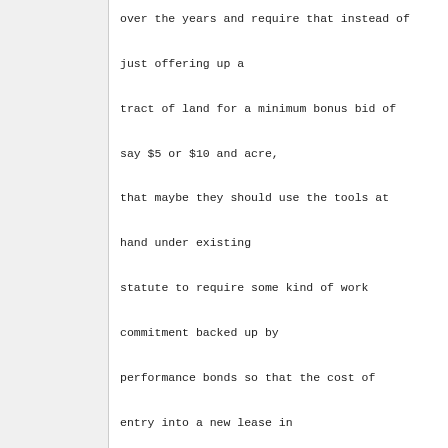over the years and require that instead of just offering up a tract of land for a minimum bonus bid of say $5 or $10 and acre, that maybe they should use the tools at hand under existing statute to require some kind of work commitment backed up by performance bonds so that the cost of entry into a new lease in the Cook Inlet is a little bit higher and also would generate more benefits to state in the form of real live work. He thought that would take care of the "corner shooters" who are the lessees that acquire land that is geographically near a unit or